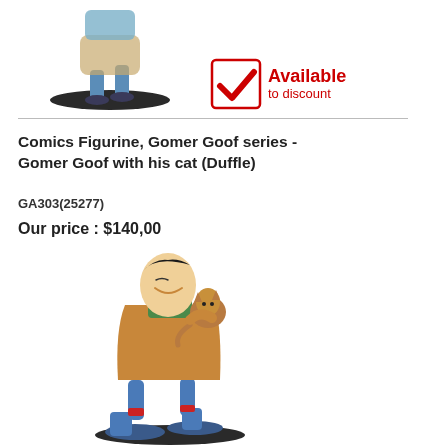[Figure (photo): Top portion of a comic figurine on a black base, partially cropped at top]
[Figure (infographic): Red and white 'Available to discount' badge with checkmark icon]
Comics Figurine, Gomer Goof series - Gomer Goof with his cat (Duffle)
GA303(25277)
Our price : $140,00
[Figure (photo): Comics figurine of Gomer Goof walking with a cat on his shoulder, wearing a brown coat and blue shoes, on a black base]